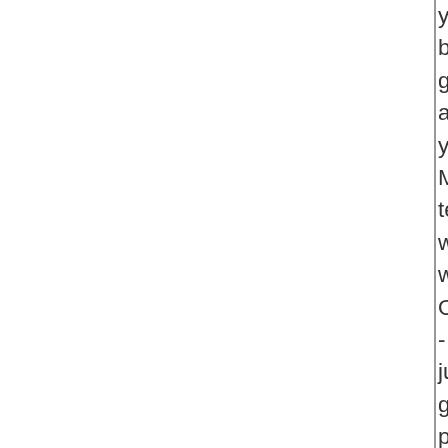you bas get all you MS ten wor with OC - just got put in the righ spo I also will be glo